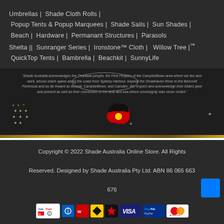Umbrellas |  Shade Cloth Rolls |  Popup Tents & Popup Marquees |  Shade Sails |  Sun Shades |  Beach |  Hardware |  Permanant Structures |  Parasols Shelta ||  Sunranger Series |  Ironstone™ Cloth |  Willow Tree |™  QuickTop Tents |  Bambrella |  Beachkit |  SunnyLife
'Shade Australia acknowledges the Tharawal people, the First Peoples of the Campbelltown area where we live and work, whose reach spans along the coast from Sydney Harbour, beyond the Shoalhaven River to the Beecroft Peninsula and as far inward as Bowral, Campbelltown, and Camden. We respect and acknowledge their Elders past and present as well as their connection to the land and sea where sovereignty was never ceded.'
[Figure (illustration): Australian map icon in Aboriginal flag colors (black, red, yellow) with decorative stars and sparkles around it]
Copyright © 2022 Shade Australia Online Store. All Rights Reserved. Designed by Shade Australia Pty Ltd. ABN 86 065 663 676
[Figure (infographic): Row of payment method logos: GeoTrust, ANZ, Westpac, Commonwealth Bank, star symbol, VISA, PayPal, MasterCard]